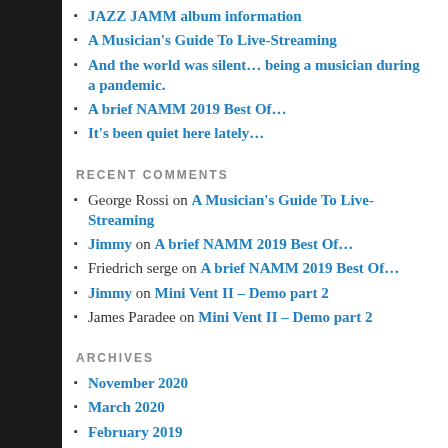JAZZ JAMM album information
A Musician's Guide To Live-Streaming
And the world was silent… being a musician during a pandemic.
A brief NAMM 2019 Best Of…
It's been quiet here lately…
RECENT COMMENTS
George Rossi on A Musician's Guide To Live-Streaming
Jimmy on A brief NAMM 2019 Best Of…
Friedrich serge on A brief NAMM 2019 Best Of…
Jimmy on Mini Vent II – Demo part 2
James Paradee on Mini Vent II – Demo part 2
ARCHIVES
November 2020
March 2020
February 2019
October 2018